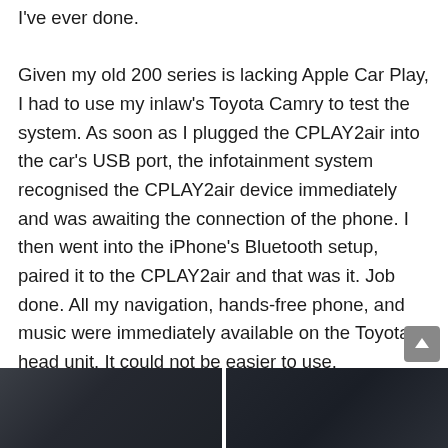I've ever done.

Given my old 200 series is lacking Apple Car Play, I had to use my inlaw's Toyota Camry to test the system. As soon as I plugged the CPLAY2air into the car's USB port, the infotainment system recognised the CPLAY2air device immediately and was awaiting the connection of the phone. I then went into the iPhone's Bluetooth setup, paired it to the CPLAY2air and that was it. Job done. All my navigation, hands-free phone, and music were immediately available on the Toyota head unit. It could not be easier to use.
[Figure (photo): Two partial photos of car interior at the bottom of the page, side by side. Left photo shows dark car seat or interior panel. Right photo shows dark car interior detail.]